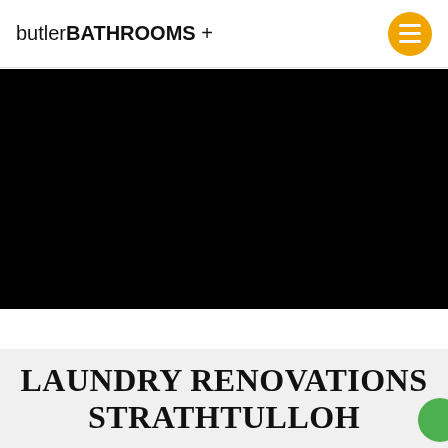butlerBATHROOMS +
[Figure (photo): Large black/dark image area, likely a hero/banner photo that appears black due to loading or dark content]
LAUNDRY RENOVATIONS STRATHTULLOH